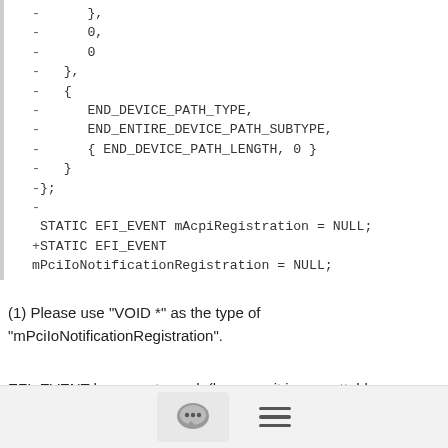- },
-      0,
-      0
-   },
-   {
-      END_DEVICE_PATH_TYPE,
-      END_ENTIRE_DEVICE_PATH_SUBTYPE,
-      { END_DEVICE_PATH_LENGTH, 0 }
-   }
-};
-
 STATIC EFI_EVENT mAcpiRegistration = NULL;
+STATIC EFI_EVENT
mPciIoNotificationRegistration = NULL;
(1) Please use "VOID *" as the type of "mPciIoNotificationRegistration".
EFI_EVENT happens to work (because it is, regrettably, a
[Figure (other): Bottom navigation bar with chat bubble icon button and hamburger menu icon]